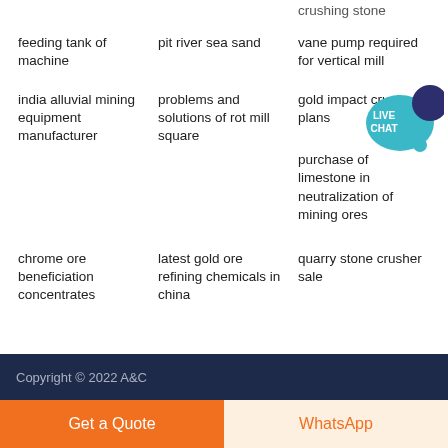crushing stone
feeding tank of machine
pit river sea sand
vane pump required for vertical mill
[Figure (illustration): Live Chat speech bubble icon with teal background and dark navy chat bubble, text: LIVE CHAT]
india alluvial mining equipment manufacturer
problems and solutions of rot mill square
gold impact crusher plans
purchase of limestone in neutralization of mining ores
chrome ore beneficiation concentrates
latest gold ore refining chemicals in china
quarry stone crusher sale
Copyright © 2022 A&C